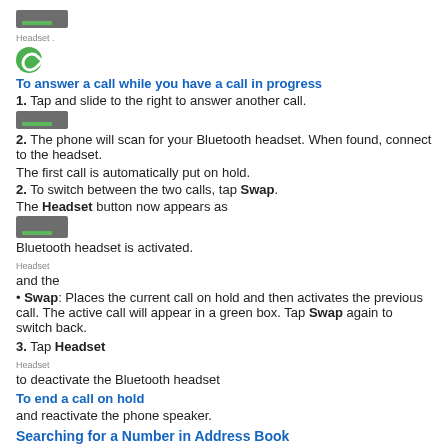[Figure (other): Gray rectangle icon with green line at bottom (Headset icon)]
Headset .
[Figure (other): Green circle phone icon]
To answer a call while you have a call in progress
1. Tap and slide to the right to answer another call.
[Figure (other): Gray rectangle icon with green line at bottom]
2. The phone will scan for your Bluetooth headset. When found, connect to the headset.
The first call is automatically put on hold.
2. To switch between the two calls, tap Swap.
The Headset button now appears as
[Figure (other): Gray rectangle icon with green line at bottom (Headset button)]
Bluetooth headset is activated.
Headset
and the
• Swap: Places the current call on hold and then activates the previous call. The active call will appear in a green box. Tap Swap again to switch back.
3. Tap Headset
Headset
to deactivate the Bluetooth headset
To end a call on hold
and reactivate the phone speaker.
Searching for a Number in Address Book
1. During the active call, press  then tap Contacts